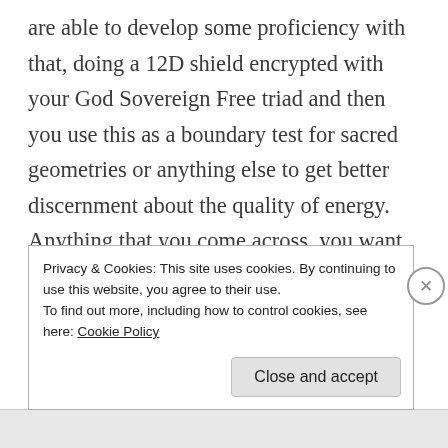are able to develop some proficiency with that, doing a 12D shield encrypted with your God Sovereign Free triad and then you use this as a boundary test for sacred geometries or anything else to get better discernment about the quality of energy. Anything that you come across, you want to feel what level of resonance you have with it, and to feel and discern the body's resonance to this coding or symbolism because of the reversals, some of which has been discussed many times in regard to
Privacy & Cookies: This site uses cookies. By continuing to use this website, you agree to their use.
To find out more, including how to control cookies, see here: Cookie Policy
Close and accept